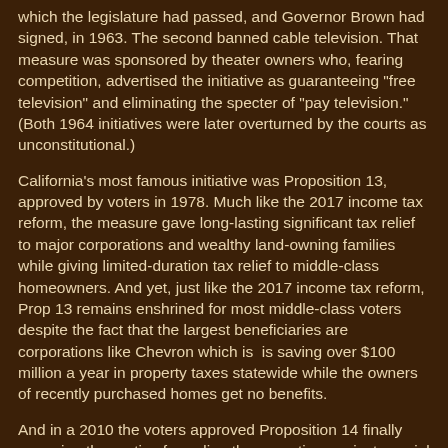which the legislature had passed, and Governor Brown had signed, in 1963. The second banned cable television. That measure was sponsored by theater owners who, fearing competition, advertised the initiative as guaranteeing "free television" and eliminating the specter of "pay television." (Both 1964 initiatives were later overturned by the courts as unconstitutional.)
California's most famous initiative was Proposition 13, approved by voters in 1978. Much like the 2017 income tax reform, the measure gave long-lasting significant tax relief to major corporations and wealthy land-owning families while giving limited-duration tax relief to middle-class homeowners. And yet, just like the 2017 income tax reform, Prop 13 remains enshrined for most middle-class voters despite the fact that the largest beneficiaries are corporations like Chevron which is  is saving over $100 million a year in property taxes statewide while the owners of recently purchased homes get no benefits.
And in a 2010 the voters approved Proposition 14 finally removing the parties from directly competing against special